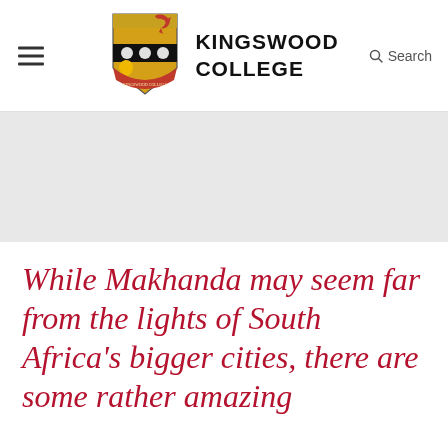KINGSWOOD COLLEGE
[Figure (logo): Kingswood College crest/shield with dragon and lion motifs in red, gold, and black, with a ribbon banner at the base]
While Makhanda may seem far from the lights of South Africa's bigger cities, there are some rather amazing